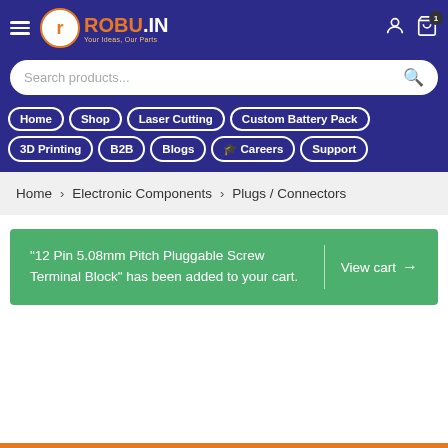[Figure (screenshot): Robu.in website header with logo, navigation menu, search bar, breadcrumb, and cart notification]
Search products...
Home
Shop
Laser Cutting
Custom Battery Pack
3D Printing
B2B
Blogs
🎓 Careers
Support
Home > Electronic Components > Plugs / Connectors
"12 Pin 5.08mm Pitch Pluggable Screw Terminal Block" has been added to your cart. | View cart →